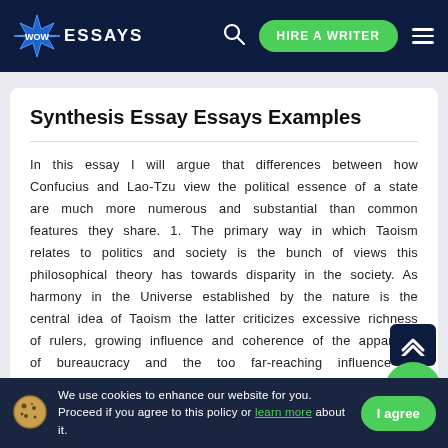WOW ESSAYS  [search]  HIRE A WRITER  [menu]
Synthesis Essay Essays Examples
In this essay I will argue that differences between how Confucius and Lao-Tzu view the political essence of a state are much more numerous and substantial than common features they share. 1. The primary way in which Taoism relates to politics and society is the bunch of views this philosophical theory has towards disparity in the society. As harmony in the Universe established by the nature is the central idea of Taoism the latter criticizes excessive richness of rulers, growing influence and coherence of the apparatus of bureaucracy and the too far-reaching influence of authorities in the everyday life ...
We use cookies to enhance our website for you. Proceed if you agree to this policy or learn more about it.  [I agree]